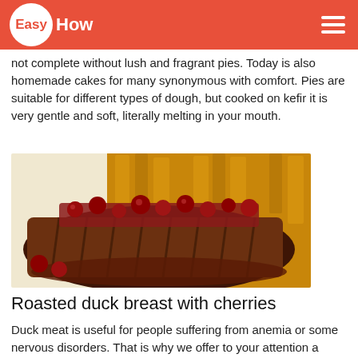EasyHow
not complete without lush and fragrant pies. Today is also homemade cakes for many synonymous with comfort. Pies are suitable for different types of dough, but cooked on kefir it is very gentle and soft, literally melting in your mouth.
[Figure (photo): Roasted duck breast sliced on a plate topped with dark cherry sauce and cherries, with golden roasted vegetables in the background]
Roasted duck breast with cherries
Duck meat is useful for people suffering from anemia or some nervous disorders. That is why we offer to your attention a simple and easy recipe for roast duck breast